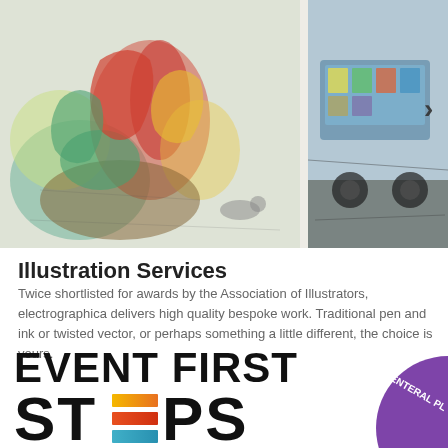[Figure (illustration): Colorful illustration artwork showing figures at a market scene on the left, and a vehicle/bus sketch on the right. Both are painterly illustrations with mixed media style.]
Illustration Services
Twice shortlisted for awards by the Association of Illustrators, electrographica delivers high quality bespoke work. Traditional pen and ink or twisted vector, or perhaps something a little different, the choice is yours.
[Figure (logo): EVENT FIRST STEPS logo with stylized bars forming the letter E in STEPS using orange-red and teal colored horizontal bars]
[Figure (logo): Enteral Plus logo partially visible on the right edge, circular purple/violet logo]